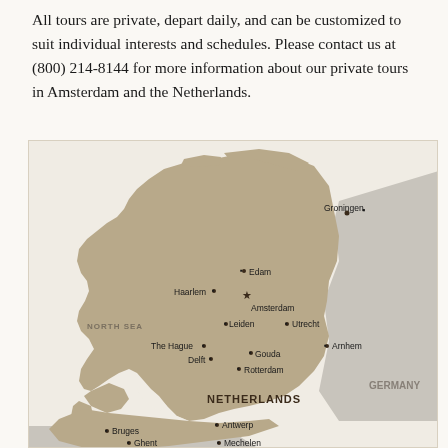All tours are private, depart daily, and can be customized to suit individual interests and schedules. Please contact us at (800) 214-8144 for more information about our private tours in Amsterdam and the Netherlands.
[Figure (map): Map of the Netherlands showing cities including Amsterdam (with star marker), Haarlem, Edam, Leiden, The Hague, Delft, Utrecht, Gouda, Rotterdam, Arnhem, Groningen, and surrounding areas including parts of Belgium (Bruges, Ghent, Antwerp, Mechelen) and Germany. The North Sea is labeled to the west. The map uses a tan/beige color for land and the style is clean cartographic.]